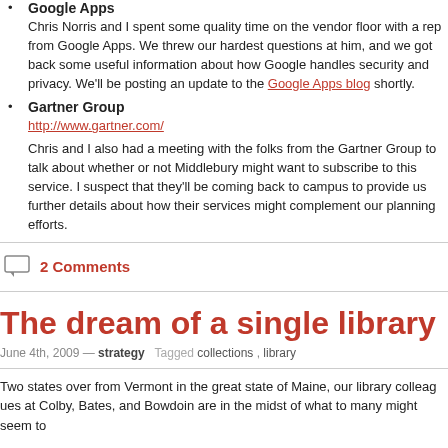Google Apps — Chris Norris and I spent some quality time on the vendor floor with a rep from Google Apps. We threw our hardest questions at him, and we got back some useful information about how Google handles security and privacy. We'll be posting an update to the Google Apps blog shortly.
Gartner Group — http://www.gartner.com/ — Chris and I also had a meeting with the folks from the Gartner Group to talk about whether or not Middlebury might want to subscribe to this service. I suspect that they'll be coming back to campus to provide us further details about how their services might complement our planning efforts.
2 Comments
The dream of a single library
June 4th, 2009 — strategy   Tagged collections , library
Two states over from Vermont in the great state of Maine, our library colleagues at Colby, Bates, and Bowdoin are in the midst of what to many might seem to